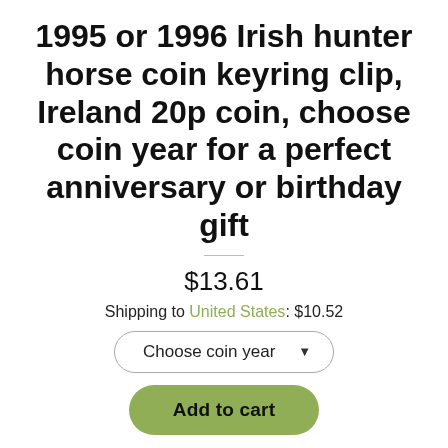1995 or 1996 Irish hunter horse coin keyring clip, Ireland 20p coin, choose coin year for a perfect anniversary or birthday gift
$13.61
Shipping to United States: $10.52
Choose coin year ▾
Add to cart
★★★★★(1)